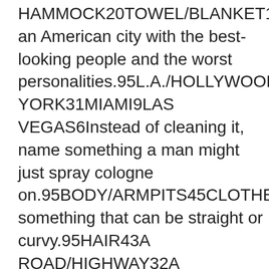HAMMOCK20TOWEL/BLANKET18WATER2Name an American city with the best-looking people and the worst personalities.95L.A./HOLLYWOOD49NEW YORK31MIAMI9LAS VEGAS6Instead of cleaning it, name something a man might just spray cologne on.95BODY/ARMPITS45CLOTHES/SHOES44COUCH/CHAIR3TOILET3Name something that can be straight or curvy.95HAIR43A ROAD/HIGHWAY32A BODY/HIS WIENER14A LINE6Name a female celebrity whose bottom seems to have as big a career as she does.95KIM KARDASHIAN41JENNIFER LOPEZ39BEYONCE12NICKI MINAJ3Name an animal with a pot belly.94PIG85BEAR3HUMAN3KANGAROO3Name something people steer.94CAR/TRUCK79BOAT/CANOE11BICYCLE2HORSE2Name something a wife might tell her dog to do to her husband if he"s being a jerk.94BITE/SIC